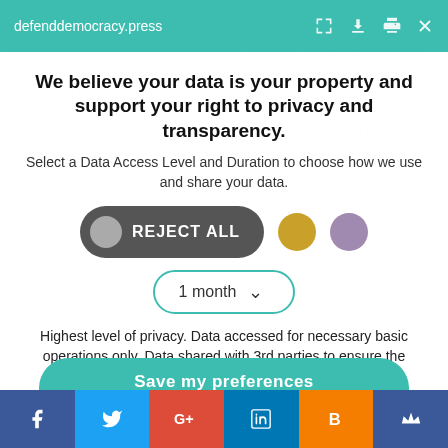defenddemocracy.press
We believe your data is your property and support your right to privacy and transparency.
Select a Data Access Level and Duration to choose how we use and share your data.
[Figure (other): Cookie consent controls: REJECT ALL button, two color circles (gold, purple), and a 1 month dropdown selector]
Highest level of privacy. Data accessed for necessary basic operations only. Data shared with 3rd parties to ensure the site is secure and works on your device
Save my preferences
Social share bar: Facebook, Twitter, Google+, LinkedIn, Blogger, Crown